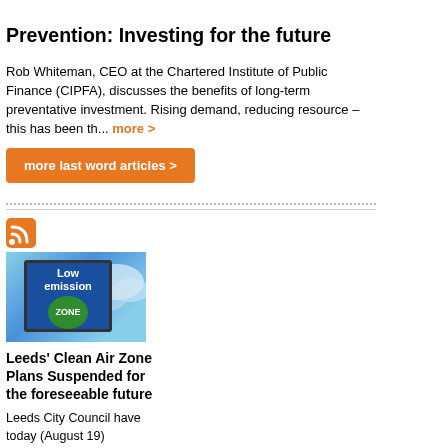Prevention: Investing for the future
Rob Whiteman, CEO at the Chartered Institute of Public Finance (CIPFA), discusses the benefits of long-term preventative investment. Rising demand, reducing resource – this has been th... more >
more last word articles >
[Figure (illustration): RSS feed icon (orange)]
[Figure (photo): Photo of a blue Low Emission Zone road sign with a green circular ZONE badge, against a cloudy sky background]
Leeds' Clean Air Zone Plans Suspended for the foreseeable future
Leeds City Council have today (August 19) announced that their plans for a Clean Air Zone within the city may not have to go ahead due to lower emissions